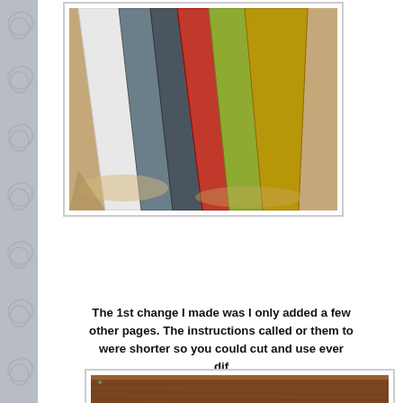[Figure (photo): Photo of colorful foam or cardboard sheets (white, gray/blue, red, yellow-green, dark yellow/mustard) standing upright on a tan/beige floor, viewed from slightly above.]
The 1st change I made was I only added a few other pages. The instructions called or them to were shorter so you could cut and use ever dif
[Figure (photo): Partial view of a wooden surface or board, brown in color, at the bottom of the page.]